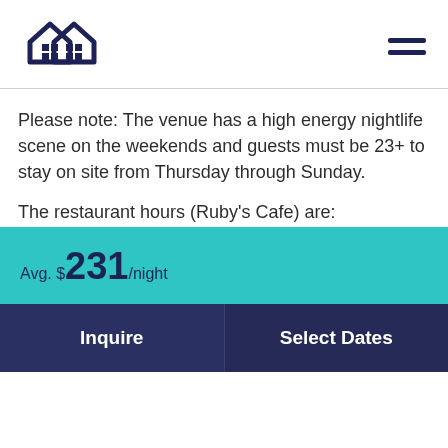[Figure (logo): Two overlapping house outlines forming an infinity-like logo in dark navy blue]
Please note: The venue has a high energy nightlife scene on the weekends and guests must be 23+ to stay on site from Thursday through Sunday.
The restaurant hours (Ruby's Cafe) are:
Avg. $231/night
Inquire
Select Dates